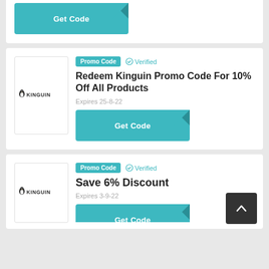[Figure (other): Partial top coupon card showing Get Code button]
[Figure (logo): Kinguin logo - penguin with KINGUIN text]
Promo Code
✓ Verified
Redeem Kinguin Promo Code For 10% Off All Products
Expires 25-8-22
[Figure (other): Get Code button teal colored]
[Figure (logo): Kinguin logo - penguin with KINGUIN text]
Promo Code
✓ Verified
Save 6% Discount
Expires 3-9-22
[Figure (other): Partial Get Code button at bottom]